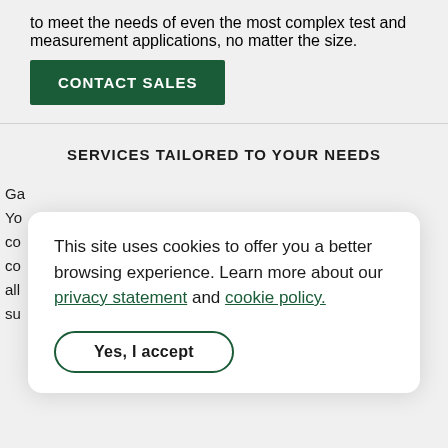to meet the needs of even the most complex test and measurement applications, no matter the size.
CONTACT SALES
SERVICES TAILORED TO YOUR NEEDS
This site uses cookies to offer you a better browsing experience. Learn more about our privacy statement and cookie policy.
Yes, I accept